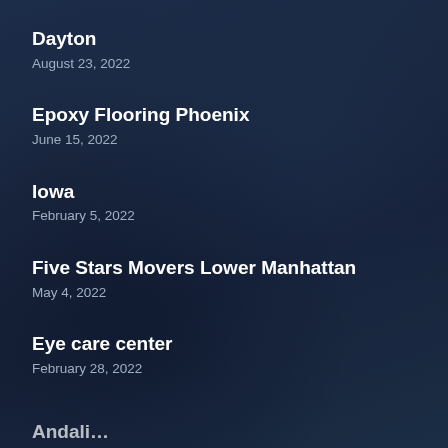Dayton
August 23, 2022
Epoxy Flooring Phoenix
June 15, 2022
Iowa
February 5, 2022
Five Stars Movers Lower Manhattan
May 4, 2022
Eye care center
February 28, 2022
Andali…